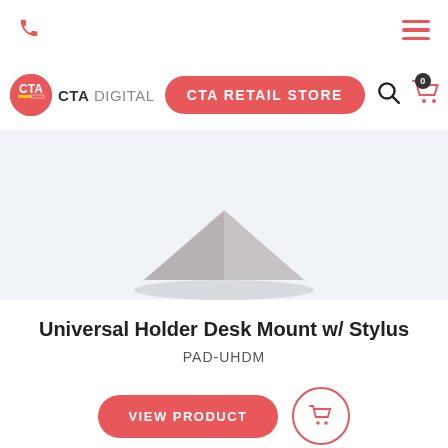[Figure (logo): Phone icon (red) in top left nav bar]
[Figure (logo): Hamburger menu icon (red, 3 lines) in top right nav bar]
[Figure (logo): CTA Digital logo with red circle and CTA text, followed by CTA DIGITAL wordmark]
CTA RETAIL STORE
[Figure (logo): Search magnifier icon]
[Figure (logo): Shopping cart icon with badge showing 0]
[Figure (photo): Product image showing a desk mount with a triangular/wedge shape, partially visible at bottom of image area]
Universal Holder Desk Mount w/ Stylus
PAD-UHDM
VIEW PRODUCT
[Figure (logo): Shopping cart icon button in red circle outline]